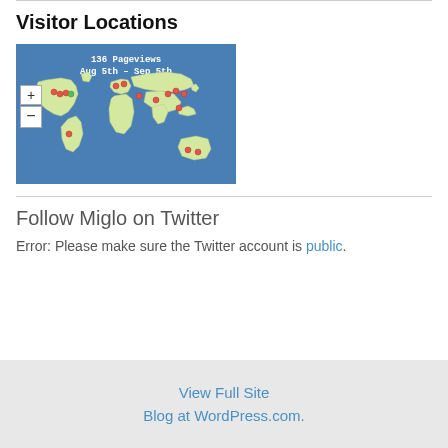Visitor Locations
[Figure (map): World map showing visitor locations with red and green dots scattered across North America, Europe, Asia, and Australia. Header text reads '136 Pageviews Aug 5th – Sep 5th'. Blue ocean background with yellow-green landmasses. Zoom in/out controls on left side.]
Follow Miglo on Twitter
Error: Please make sure the Twitter account is public.
View Full Site
Blog at WordPress.com.